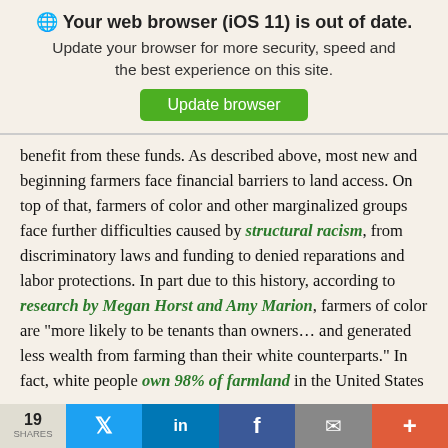[Figure (screenshot): Browser update notification banner with globe icon, bold title 'Your web browser (iOS 11) is out of date.', subtitle text, and a green 'Update browser' button.]
benefit from these funds. As described above, most new and beginning farmers face financial barriers to land access. On top of that, farmers of color and other marginalized groups face further difficulties caused by structural racism, from discriminatory laws and funding to denied reparations and labor protections. In part due to this history, according to research by Megan Horst and Amy Marion, farmers of color are “more likely to be tenants than owners… and generated less wealth from farming than their white counterparts.” In fact, white people own 98% of farmland in the United States
19  [Twitter] [in] [f] [mail] [+]